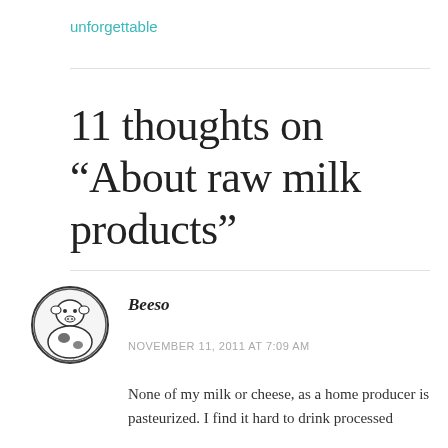unforgettable
11 thoughts on “About raw milk products”
Beeso
NOVEMBER 11, 2011 AT 7:09 AM
None of my milk or cheese, as a home producer is pasteurized. I find it hard to drink processed